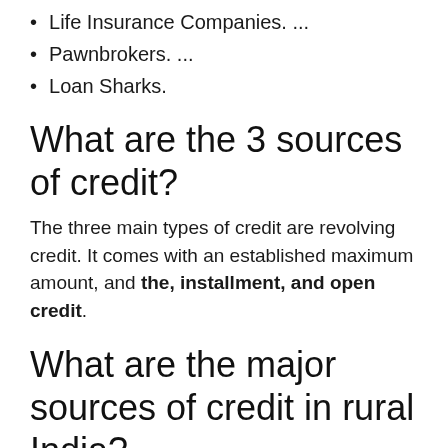Life Insurance Companies. ...
Pawnbrokers. ...
Loan Sharks.
What are the 3 sources of credit?
The three main types of credit are revolving credit. It comes with an established maximum amount, and the, installment, and open credit.
What are the major sources of credit in rural India?
MONEY lenders, traders, relatives and friends, cooperative societies and